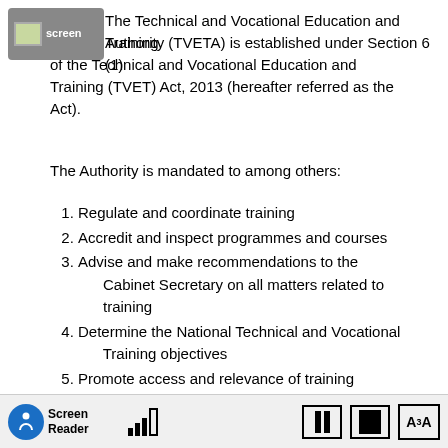[Figure (screenshot): Screenshot overlay icon with grey background in top-left corner]
The Technical and Vocational Education and Training Authority (TVETA) is established under Section 6 (1) of the Technical and Vocational Education and Training (TVET) Act, 2013 (hereafter referred as the Act).
The Authority is mandated to among others:
1. Regulate and coordinate training
2. Accredit and inspect programmes and courses
3. Advise and make recommendations to the Cabinet Secretary on all matters related to training
4. Determine the National Technical and Vocational Training objectives
5. Promote access and relevance of training programmes... National...
[Figure (screenshot): Screen Reader taskbar overlay at the bottom of the screen with accessibility controls]